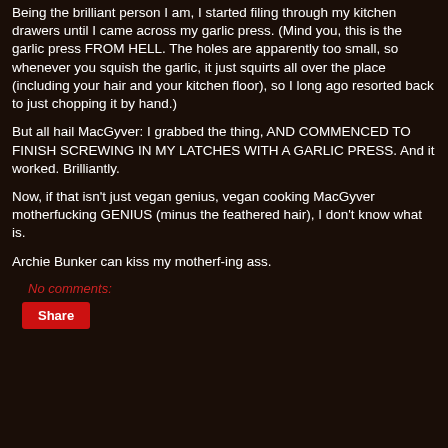Being the brilliant person I am, I started filing through my kitchen drawers until I came across my garlic press. (Mind you, this is the garlic press FROM HELL. The holes are apparently too small, so whenever you squish the garlic, it just squirts all over the place (including your hair and your kitchen floor), so I long ago resorted back to just chopping it by hand.)

But all hail MacGyver: I grabbed the thing, AND COMMENCED TO FINISH SCREWING IN MY LATCHES WITH A GARLIC PRESS. And it worked. Brilliantly.

Now, if that isn't just vegan genius, vegan cooking MacGyver motherfucking GENIUS (minus the feathered hair), I don't know what is.

Archie Bunker can kiss my motherf-ing ass.
No comments:
Share